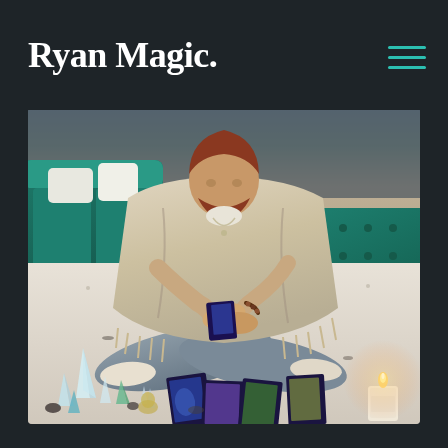Ryan Magic.
[Figure (photo): A person with red/auburn beard wearing a cream/beige fringed poncho, sitting cross-legged on a white textured rug on the floor, holding tarot cards in their hands. Around them on the floor are spread tarot cards, crystals, and candles. In the background are teal/green velvet furniture pieces and a side table with a metallic decorative object. A lit candle is visible in the bottom right.]